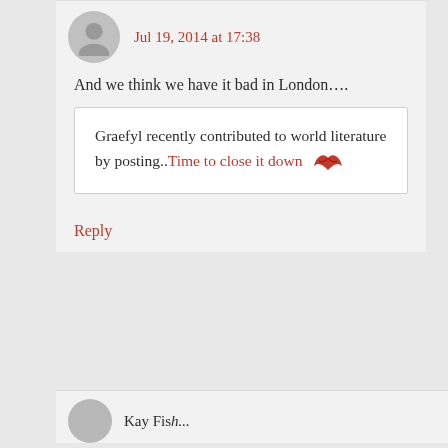Jul 19, 2014 at 17:38
And we think we have it bad in London….
Graefyl recently contributed to world literature by posting..Time to close it down
Reply
Kay Fis...